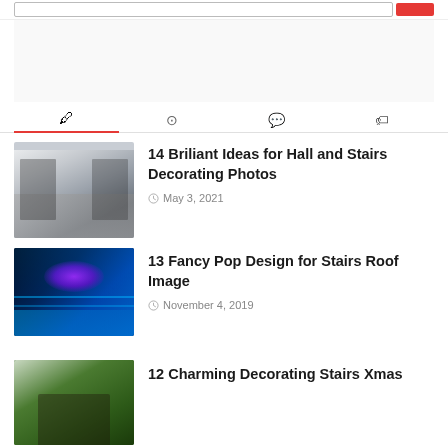[Search bar with red button]
[Figure (screenshot): Navigation tabs with icons: pen/author icon (active, red underline), clock icon, comment icon, tag icon]
[Figure (photo): Interior hallway and staircase with white banisters and patterned floor]
14 Briliant Ideas for Hall and Stairs Decorating Photos
May 3, 2021
[Figure (photo): Modern hallway ceiling with blue LED lighting and pop ceiling design]
13 Fancy Pop Design for Stairs Roof Image
November 4, 2019
[Figure (photo): Outdoor Christmas decorating stairs scene]
12 Charming Decorating Stairs Xmas